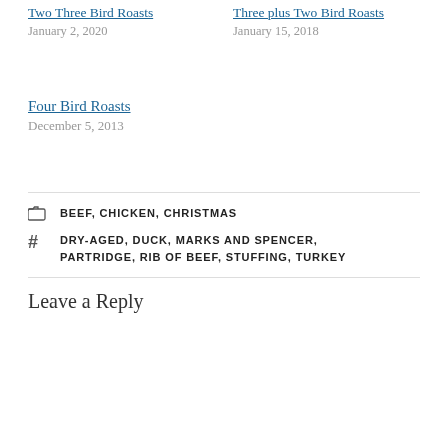Two Three Bird Roasts
January 2, 2020
Three plus Two Bird Roasts
January 15, 2018
Four Bird Roasts
December 5, 2013
BEEF, CHICKEN, CHRISTMAS
DRY-AGED, DUCK, MARKS AND SPENCER, PARTRIDGE, RIB OF BEEF, STUFFING, TURKEY
Leave a Reply